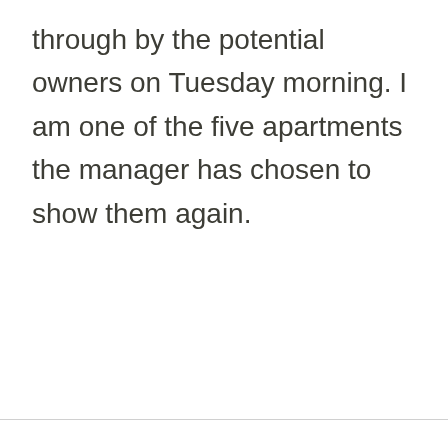through by the potential owners on Tuesday morning. I am one of the five apartments the manager has chosen to show them again.